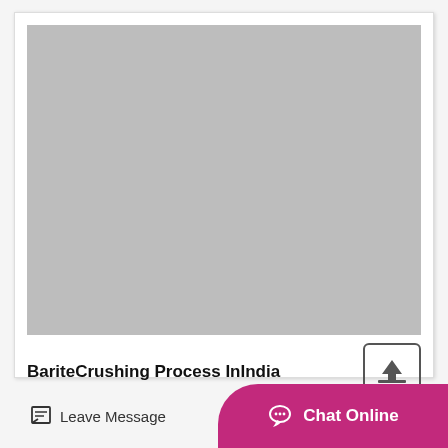[Figure (photo): Gray placeholder image for Barite Crushing Process In India]
BariteCrushing Process InIndia
Leave Message
Chat Online